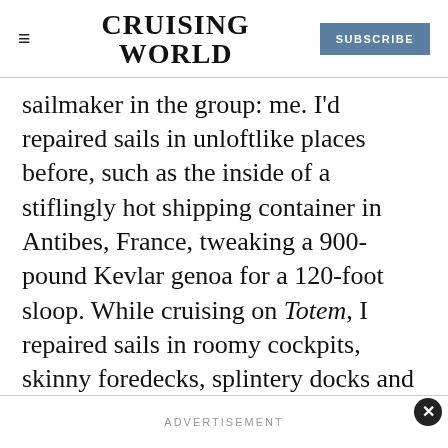CRUISING WORLD | SUBSCRIBE
sailmaker in the group: me. I'd repaired sails in unloftlike places before, such as the inside of a stiflingly hot shipping container in Antibes, France, tweaking a 900-pound Kevlar genoa for a 120-foot sloop. While cruising on Totem, I repaired sails in roomy cockpits, skinny foredecks, splintery docks and on an idyllic beach. No clean, spacious sail lofts inhabit remote-cruising reality.
ADVERTISEMENT